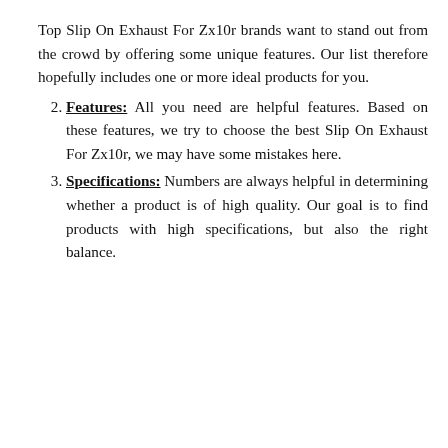Top Slip On Exhaust For Zx10r brands want to stand out from the crowd by offering some unique features. Our list therefore hopefully includes one or more ideal products for you.
Features: All you need are helpful features. Based on these features, we try to choose the best Slip On Exhaust For Zx10r, we may have some mistakes here.
Specifications: Numbers are always helpful in determining whether a product is of high quality. Our goal is to find products with high specifications, but also the right balance.